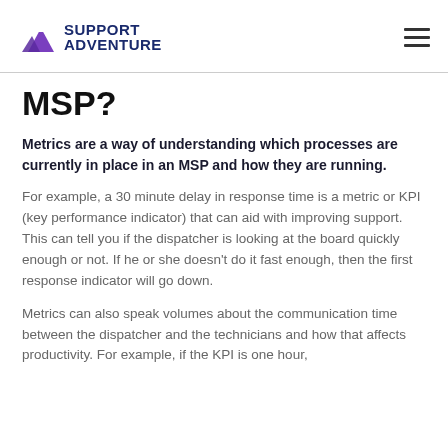Support Adventure
MSP?
Metrics are a way of understanding which processes are currently in place in an MSP and how they are running.
For example, a 30 minute delay in response time is a metric or KPI (key performance indicator) that can aid with improving support. This can tell you if the dispatcher is looking at the board quickly enough or not. If he or she doesn't do it fast enough, then the first response indicator will go down.
Metrics can also speak volumes about the communication time between the dispatcher and the technicians and how that affects productivity. For example, if the KPI is one hour,